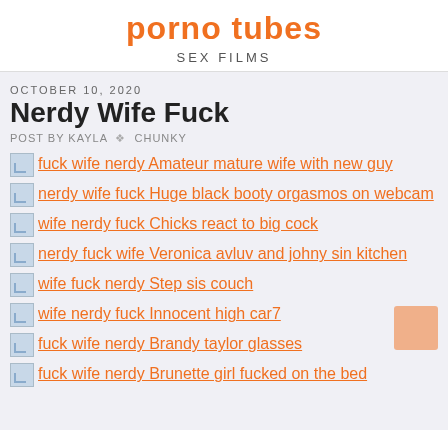porno tubes
SEX FILMS
OCTOBER 10, 2020
Nerdy Wife Fuck
POST BY KAYLA ❖ CHUNKY
fuck wife nerdy Amateur mature wife with new guy
nerdy wife fuck Huge black booty orgasmos on webcam
wife nerdy fuck Chicks react to big cock
nerdy fuck wife Veronica avluv and johny sin kitchen
wife fuck nerdy Step sis couch
wife nerdy fuck Innocent high car7
fuck wife nerdy Brandy taylor glasses
fuck wife nerdy Brunette girl fucked on the bed